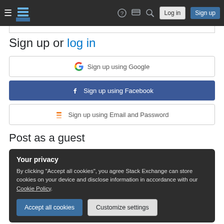Stack Exchange navigation bar with hamburger menu, logo, help icon, chat icon, search icon, Log in button, Sign up button
Sign up or log in
Sign up using Google
Sign up using Facebook
Sign up using Email and Password
Post as a guest
Your privacy
By clicking "Accept all cookies", you agree Stack Exchange can store cookies on your device and disclose information in accordance with our Cookie Policy.
Accept all cookies
Customize settings